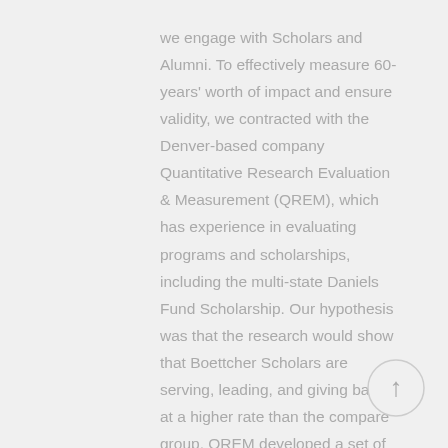we engage with Scholars and Alumni. To effectively measure 60-years' worth of impact and ensure validity, we contracted with the Denver-based company Quantitative Research Evaluation & Measurement (QREM), which has experience in evaluating programs and scholarships, including the multi-state Daniels Fund Scholarship. Our hypothesis was that the research would show that Boettcher Scholars are serving, leading, and giving back at a higher rate than the compare group. QREM developed a set of questions focused on leadership,
[Figure (other): A circular back-to-top button with an upward arrow icon, light gray border and gray arrow symbol]